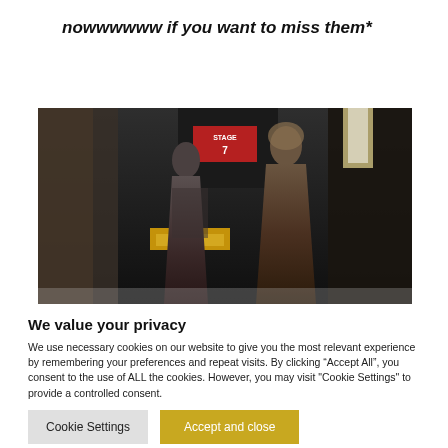nowwwwww if you want to miss them*
[Figure (photo): Two women standing near a Stage 7 sign in a dark backstage or studio setting. Yellow equipment visible in background.]
We value your privacy
We use necessary cookies on our website to give you the most relevant experience by remembering your preferences and repeat visits. By clicking “Accept All”, you consent to the use of ALL the cookies. However, you may visit "Cookie Settings" to provide a controlled consent.
Cookie Settings
Accept and close